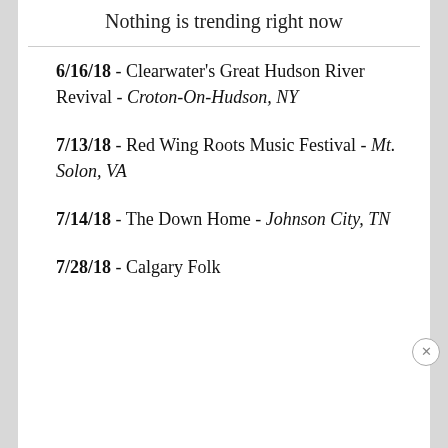Nothing is trending right now
6/16/18 - Clearwater's Great Hudson River Revival - Croton-On-Hudson, NY
7/13/18 - Red Wing Roots Music Festival - Mt. Solon, VA
7/14/18 - The Down Home - Johnson City, TN
7/28/18 - Calgary Folk...
[Figure (screenshot): Hulu Disney+ ESPN+ Get the Disney Bundle advertisement banner. Incl. Hulu (ad-supported) or Hulu (No Ads). Access content from each service separately. ©2021 Disney and its related entities.]